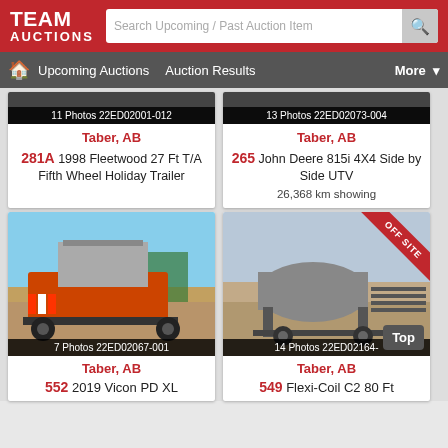[Figure (screenshot): Team Auctions website header with red background, logo on left, search bar in center]
[Figure (screenshot): Navigation bar with home icon, Upcoming Auctions, Auction Results, More dropdown]
[Figure (photo): Auction item card: 11 Photos 22ED02001-012, Taber AB, 281A 1998 Fleetwood 27 Ft T/A Fifth Wheel Holiday Trailer]
[Figure (photo): Auction item card: 13 Photos 22ED02073-004, Taber AB, 265 John Deere 815i 4X4 Side by Side UTV, 26,368 km showing]
[Figure (photo): Auction item card: 7 Photos 22ED02067-001, Taber AB, 552 2019 Vicon PD XL seeder photo]
[Figure (photo): Auction item card: 14 Photos 22ED02164-x, Taber AB, 549 Flexi-Coil C2 80 Ft tank, OFF SITE badge, Top button visible]